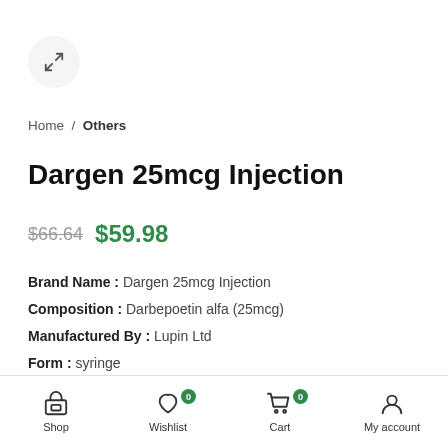[Figure (other): Expand/zoom icon button inside a circular grey background]
Home / Others
Dargen 25mcg Injection
$66.64  $59.98
Brand Name : Dargen 25mcg Injection
Composition : Darbepoetin alfa (25mcg)
Manufactured By : Lupin Ltd
Form : syringe
Packing : 0.42 ml in 1 prefilled syringe
ADD TO CART
Shop  Wishlist  Cart  My account